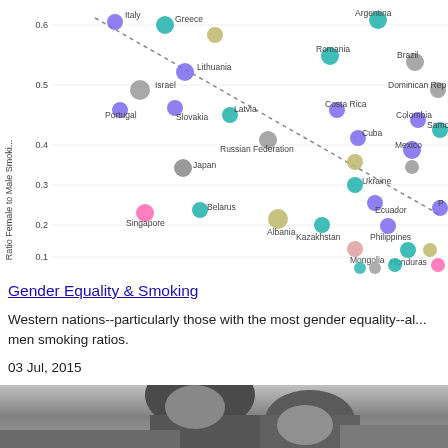[Figure (scatter-plot): Scatter plot showing ratio of female to male smoking rates vs gender equality index for various countries. Countries shown include Italy, Greece, Lithuania, Israel, Portugal, Slovakia, Latvia, Russian Federation, Japan, Belarus, Singapore, Albania, Romania, Costa Rica, Cuba, Kazakhstan, Philippines, Ukraine, Ecuador, Mongolia, Honduras, Argentina, Brazil, Dominican Republic, Colombia, Mexico, Samoa. Y-axis ranges from about 0.1 to 0.6+. A dashed trend line shows negative correlation.]
Gender Equality & Smoking
Western nations--particularly those with the most gender equality--al... men smoking ratios.
03 Jul, 2015
[Figure (photo): Black and white photograph showing what appears to be two people, partially cropped at bottom of page.]